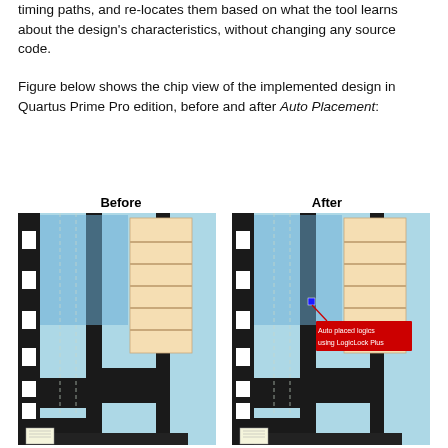timing paths, and re-locates them based on what the tool learns about the design’s characteristics, without changing any source code.
Figure below shows the chip view of the implemented design in Quartus Prime Pro edition, before and after Auto Placement:
[Figure (illustration): Two side-by-side chip layout views from Quartus Prime Pro edition. Left image labeled 'Before' shows the chip floorplan with blue scattered logic regions, black routing channels, and a beige block structure. Right image labeled 'After' shows similar layout but with a red annotation box reading 'Auto placed logics using LogicLock Plus' pointing to a concentrated blue cluster region, demonstrating the effect of Auto Placement.]